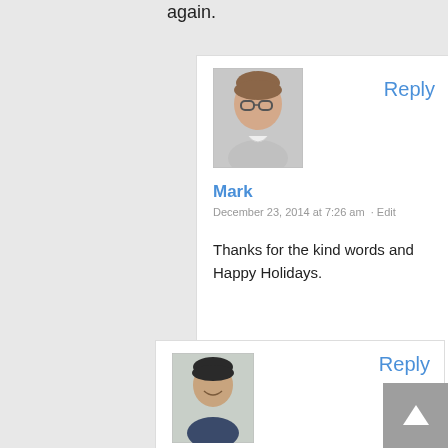again.
[Figure (photo): Avatar photo of Mark, a man with glasses]
Reply
Mark
December 23, 2014 at 7:26 am · Edit
Thanks for the kind words and Happy Holidays.
[Figure (photo): Avatar photo of tawcan, a young man smiling]
Reply
tawcan
December 22, 2014 at 11:08 pm · Edit